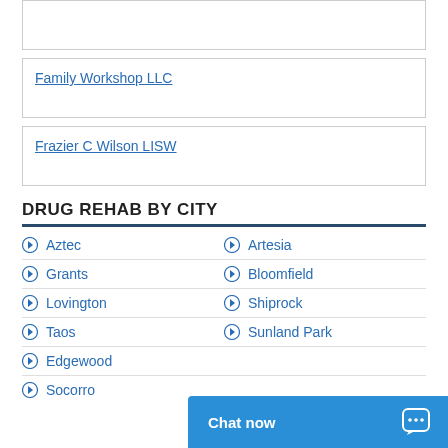Family Workshop LLC
Frazier C Wilson LISW
DRUG REHAB BY CITY
Aztec
Artesia
Grants
Bloomfield
Lovington
Shiprock
Taos
Sunland Park
Edgewood
Socorro
Chat now